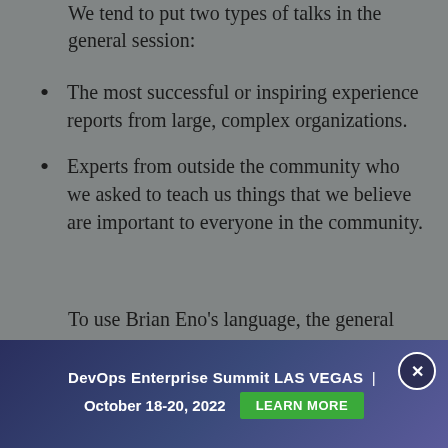We tend to put two types of talks in the general session:
The most successful or inspiring experience reports from large, complex organizations.
Experts from outside the community who we asked to teach us things that we believe are important to everyone in the community.
To use Brian Eno's language, the general session is where we celebrate successes in
DevOps Enterprise Summit LAS VEGAS | October 18-20, 2022  LEARN MORE